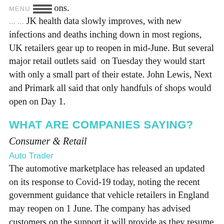MENU
the British public to comply with rules and any future ons.
As UK health data slowly improves, with new infections and deaths inching down in most regions, UK retailers gear up to reopen in mid-June. But several major retail outlets said on Tuesday they would start with only a small part of their estate. John Lewis, Next and Primark all said that only handfuls of shops would open on Day 1.
WHAT ARE COMPANIES SAYING?
Consumer & Retail
Auto Trader
The automotive marketplace has released an updated on its response to Covid-19 today, noting the recent government guidance that vehicle retailers in England may reopen on 1 June. The company has advised customers on the support it will provide as they resume trading, which includes a 25% discount for the